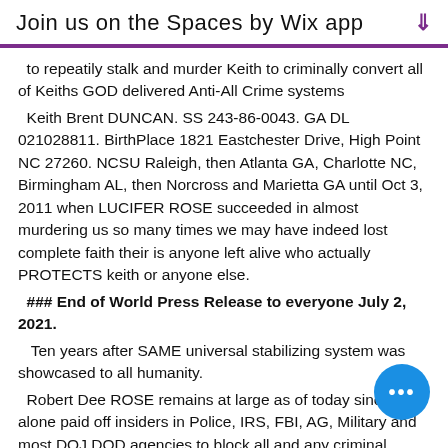Join us on the Spaces by Wix app
to repeatily stalk and murder Keith to criminally convert all of Keiths GOD delivered Anti-All Crime systems
Keith Brent DUNCAN. SS 243-86-0043. GA DL 021028811. BirthPlace 1821 Eastchester Drive, High Point NC 27260. NCSU Raleigh, then Atlanta GA, Charlotte NC, Birmingham AL, then Norcross and Marietta GA until Oct 3, 2011 when LUCIFER ROSE succeeded in almost murdering us so many times we may have indeed lost complete faith their is anyone left alive who actually PROTECTS keith or anyone else.
### End of World Press Release to everyone July 2, 2021.
Ten years after SAME universal stabilizing system was showcased to all humanity.
Robert Dee ROSE remains at large as of today since HE alone paid off insiders in Police, IRS, FBI, AG, Military and most DOJ DOD agencies to block all and any criminal investigations using KEITHS methods to show WHO is WHO, WHO pirates what, WHO are worst criminals of all time.
All victims of organized Criminals MUST do the same procedures to collectively unify each communities as totally independent Sove decentralization of all Wealth to eliminate all politics and mega corporate Executives and